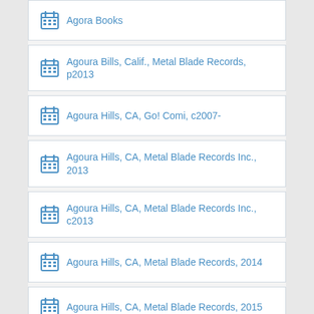Agora Books
Agoura Bills, Calif., Metal Blade Records, p2013
Agoura Hills, CA, Go! Comi, c2007-
Agoura Hills, CA, Metal Blade Records Inc., 2013
Agoura Hills, CA, Metal Blade Records Inc., c2013
Agoura Hills, CA, Metal Blade Records, 2014
Agoura Hills, CA, Metal Blade Records, 2015
Agoura Hills, CA, Metal Blade Records, 2016
Agoura Hills, CA, Metal Blade Records, c2014
Agoura Hills, CA, Metal Blade Records, p2012
Agoura Hills, CA, Metal Blade Records, p2014